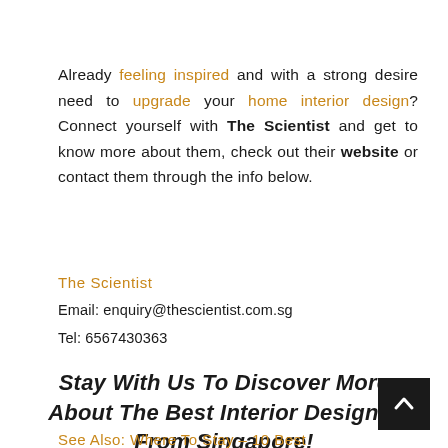Already feeling inspired and with a strong desire need to upgrade your home interior design? Connect yourself with The Scientist and get to know more about them, check out their website or contact them through the info below.
The Scientist
Email: enquiry@thescientist.com.sg
Tel: 6567430363
Stay With Us To Discover More About The Best Interior Designer From Singapore!
See Also: Where To Stay – 10 Best